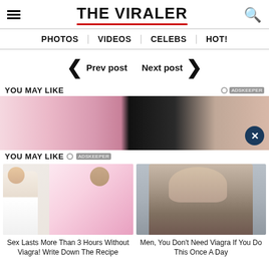THE VIRALER
PHOTOS | VIDEOS | CELEBS | HOT!
Prev post   Next post
YOU MAY LIKE
[Figure (photo): Advertisement banner image showing suggestive content with a dark bottle]
YOU MAY LIKE
[Figure (photo): Illustration of doctor and couple with cartoon art style]
Sex Lasts More Than 3 Hours Without Viagra! Write Down The Recipe
[Figure (photo): Photo of mature woman with short grey hair looking downward]
Men, You Don't Need Viagra If You Do This Once A Day